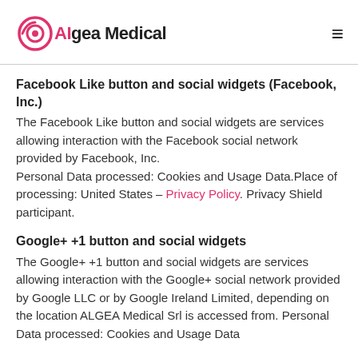AIgea Medical
Facebook Like button and social widgets (Facebook, Inc.)
The Facebook Like button and social widgets are services allowing interaction with the Facebook social network provided by Facebook, Inc.
Personal Data processed: Cookies and Usage Data.Place of processing: United States – Privacy Policy. Privacy Shield participant.
Google+ +1 button and social widgets
The Google+ +1 button and social widgets are services allowing interaction with the Google+ social network provided by Google LLC or by Google Ireland Limited, depending on the location ALGEA Medical Srl is accessed from. Personal Data processed: Cookies and Usage Data